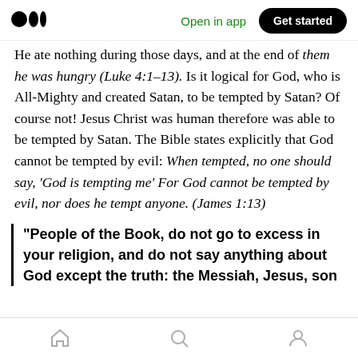Medium logo | Open in app | Get started
He ate nothing during those days, and at the end of them he was hungry (Luke 4:1–13). Is it logical for God, who is All-Mighty and created Satan, to be tempted by Satan? Of course not! Jesus Christ was human therefore was able to be tempted by Satan. The Bible states explicitly that God cannot be tempted by evil: When tempted, no one should say, 'God is tempting me' For God cannot be tempted by evil, nor does he tempt anyone. (James 1:13)
“People of the Book, do not go to excess in your religion, and do not say anything about God except the truth: the Messiah, Jesus, son
Home | Search | Profile